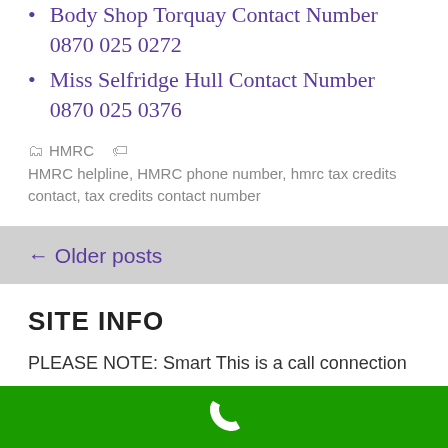Body Shop Torquay Contact Number 0870 025 0272
Miss Selfridge Hull Contact Number 0870 025 0376
HMRC   HMRC helpline, HMRC phone number, hmrc tax credits contact, tax credits contact number
← Older posts
SITE INFO
PLEASE NOTE: Smart This is a call connection